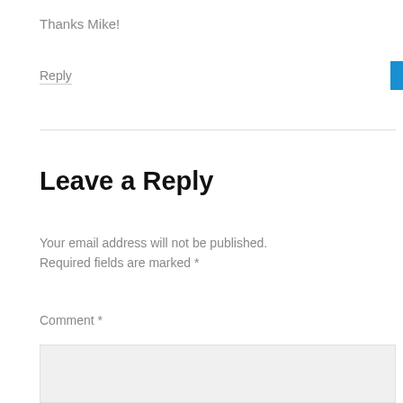Thanks Mike!
Reply
Leave a Reply
Your email address will not be published. Required fields are marked *
Comment *